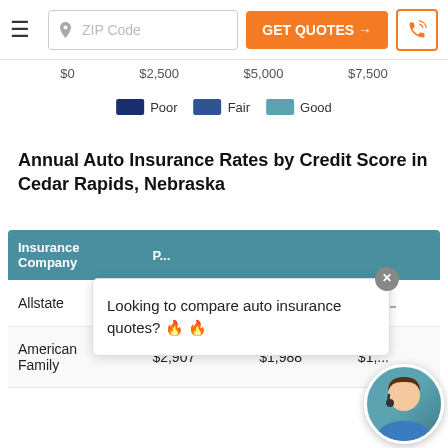ZIP Code | GET QUOTES → | phone icon
$0  $2,500  $5,000  $7,500
[Figure (other): Legend showing Poor (dark blue), Fair (medium blue), Good (teal) color categories for credit score chart]
Annual Auto Insurance Rates by Credit Score in Cedar Rapids, Nebraska
| Insurance Company | Poor | Fair | Good |
| --- | --- | --- | --- |
| Allstate | $... | $... | $... |
| American Family | $2,907 | $1,988 | $1,... |
Looking to compare auto insurance quotes? 🔥 🔥